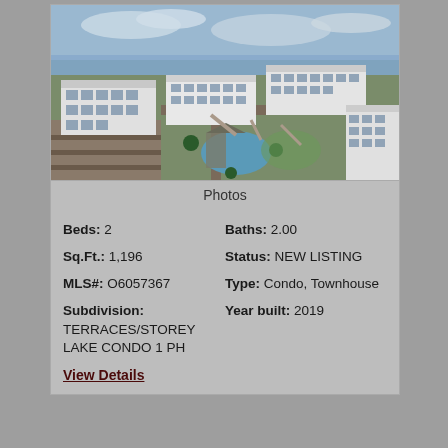[Figure (photo): Aerial drone photo of a condominium complex with white multi-story buildings, a pool area with palm trees, parking lots, and a lake/water body in the background under a cloudy sky.]
Photos
Beds: 2
Baths: 2.00
Sq.Ft.: 1,196
Status: NEW LISTING
MLS#: O6057367
Type: Condo, Townhouse
Subdivision: TERRACES/STOREY LAKE CONDO 1 PH
Year built: 2019
View Details